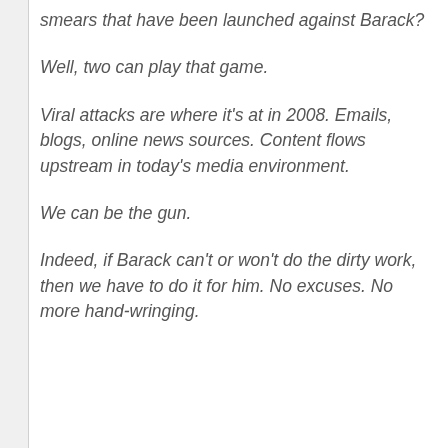smears that have been launched against Barack?
Well, two can play that game.
Viral attacks are where it's at in 2008. Emails, blogs, online news sources. Content flows upstream in today's media environment.
We can be the gun.
Indeed, if Barack can't or won't do the dirty work, then we have to do it for him. No excuses. No more hand-wringing.